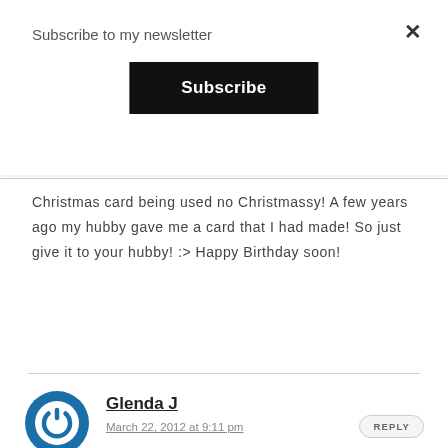Subscribe to my newsletter
[Figure (other): Subscribe button — black rectangular button with white bold text 'Subscribe']
Christmas card being used no Christmassy! A few years ago my hubby gave me a card that I had made! So just give it to your hubby! :> Happy Birthday soon!
Glenda J
March 22, 2012 at 9:11 pm
REPLY
Great work! Love the fabulous